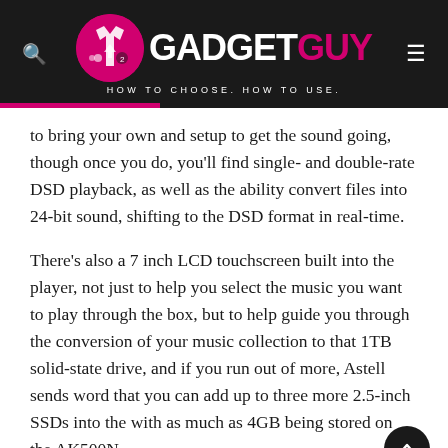GADGET GUY — HOW TO CHOOSE. HOW TO USE.
to bring your own and setup to get the sound going, though once you do, you'll find single- and double-rate DSD playback, as well as the ability convert files into 24-bit sound, shifting to the DSD format in real-time.
There's also a 7 inch LCD touchscreen built into the player, not just to help you select the music you want to play through the box, but to help guide you through the conversion of your music collection to that 1TB solid-state drive, and if you run out of more, Astell sends word that you can add up to three more 2.5-inch SSDs into the with as much as 4GB being stored on the AK500N.